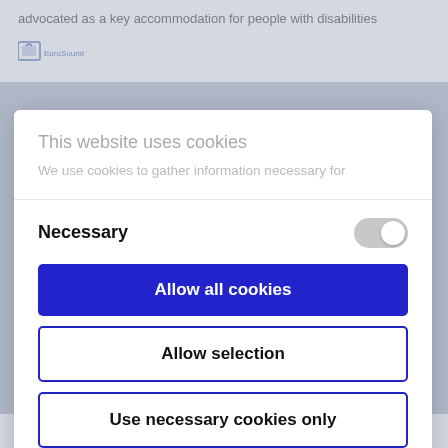advocated as a key accommodation for people with disabilities
[Figure (logo): EuroSound logo - small blue padlock/waves icon with text]
This website uses cookies
We use cookies to gather information necessary for
Necessary
Allow all cookies
Allow selection
Use necessary cookies only
Powered by Cookiebot by Usercentrics
people with disabilities